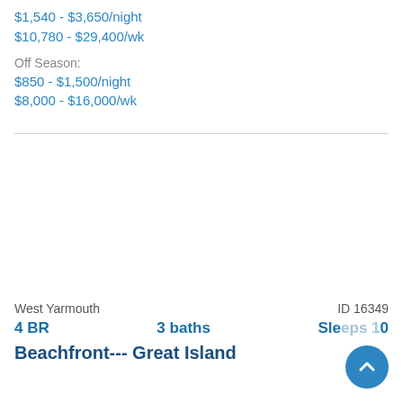$1,540 - $3,650/night
$10,780 - $29,400/wk
Off Season:
$850 - $1,500/night
$8,000 - $16,000/wk
West Yarmouth
ID 16349
4 BR    3 baths    Sleeps 10
Beachfront--- Great Island